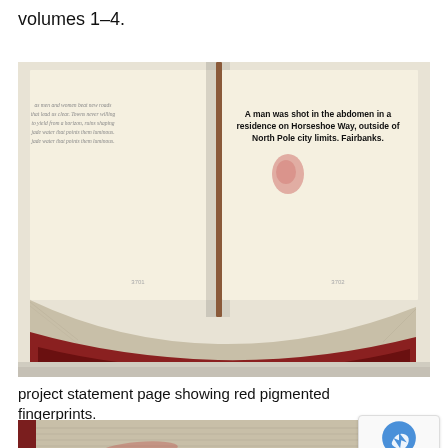volumes 1–4.
[Figure (photo): Open book photograph showing two pages. Left page has small text. Right page shows bold text: 'A man was shot in the abdomen in a residence on Horseshoe Way, outside of North Pole city limits. Fairbanks.' There is a red pigmented fingerprint visible on the right page. The book is lying open, showing spine and pages viewed from above.]
project statement page showing red pigmented fingerprints.
[Figure (photo): Close-up photograph of book pages showing red pigmented fingerprints on the edges/sides of stacked pages.]